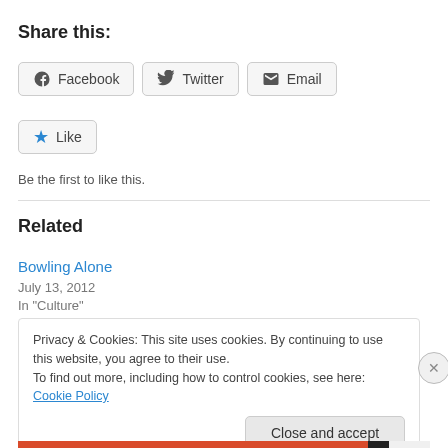Share this:
Facebook  Twitter  Email
Like
Be the first to like this.
Related
Bowling Alone
July 13, 2012
In "Culture"
Privacy & Cookies: This site uses cookies. By continuing to use this website, you agree to their use. To find out more, including how to control cookies, see here: Cookie Policy
Close and accept